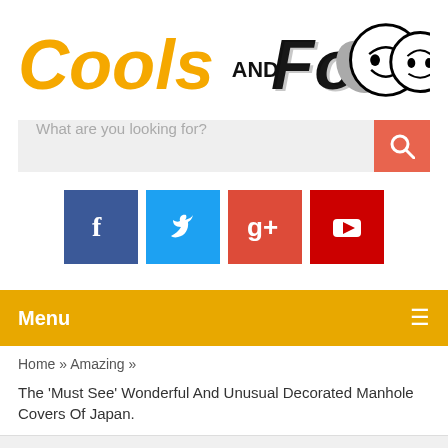[Figure (logo): Cools AND Fools logo with cartoon smiley faces and a hand giving thumbs up]
[Figure (screenshot): Search bar with placeholder text 'What are you looking for?' and orange search button]
[Figure (screenshot): Social media icons: Facebook (blue), Twitter (cyan), Google+ (red-orange), YouTube (red)]
Menu
Home » Amazing » The 'Must See' Wonderful And Unusual Decorated Manhole Covers Of Japan.